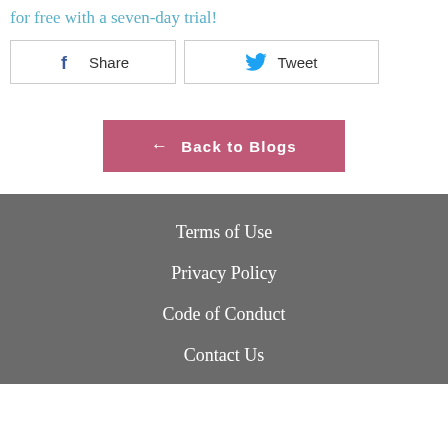for free with a seven-day trial!
Share
Tweet
← Back to Blogs
Terms of Use
Privacy Policy
Code of Conduct
Contact Us